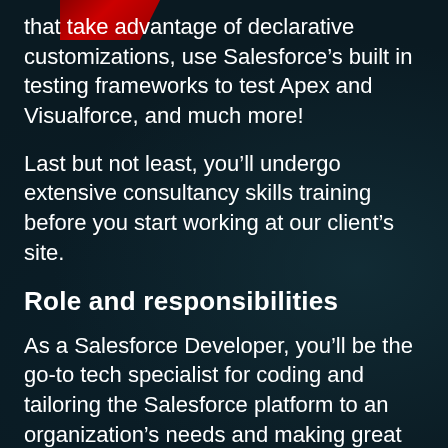that take advantage of declarative customizations, use Salesforce's built in testing frameworks to test Apex and Visualforce, and much more!
Last but not least, you'll undergo extensive consultancy skills training before you start working at our client's site.
Role and responsibilities
As a Salesforce Developer, you'll be the go-to tech specialist for coding and tailoring the Salesforce platform to an organization's needs and making great ideas a reality in what is rated as one of